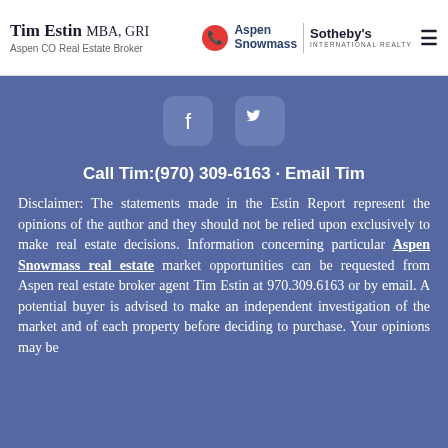Tim Estin MBA, GRI — Aspen CO Real Estate Broker | Aspen Snowmass | Sotheby's International Realty
[Figure (illustration): Facebook and Twitter social media icons (rounded square buttons) on blue background]
Call Tim:(970) 309-6163 · Email Tim
Disclaimer: The statements made in the Estin Report represent the opinions of the author and they should not be relied upon exclusively to make real estate decisions. Information concerning particular Aspen Snowmass real estate market opportunities can be requested from Aspen real estate broker agent Tim Estin at 970.309.6163 or by email. A potential buyer is advised to make an independent investigation of the market and of each property before deciding to purchase. Your opinions may be